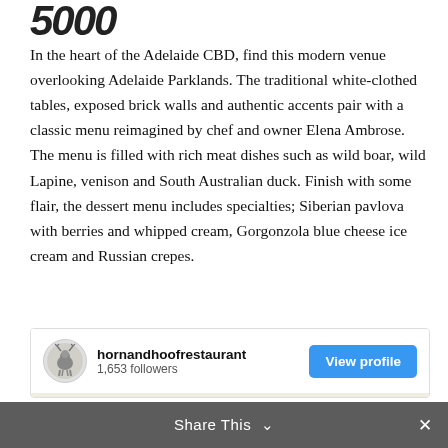5000
In the heart of the Adelaide CBD, find this modern venue overlooking Adelaide Parklands. The traditional white-clothed tables, exposed brick walls and authentic accents pair with a classic menu reimagined by chef and owner Elena Ambrose. The menu is filled with rich meat dishes such as wild boar, wild Lapine, venison and South Australian duck. Finish with some flair, the dessert menu includes specialties; Siberian pavlova with berries and whipped cream, Gorgonzola blue cheese ice cream and Russian crepes.
[Figure (screenshot): Instagram profile embed showing hornandhoofrestaurant with 1,653 followers and a View profile button, with a partial food photo below showing a dessert plate with fruit and cream.]
Share This  ×